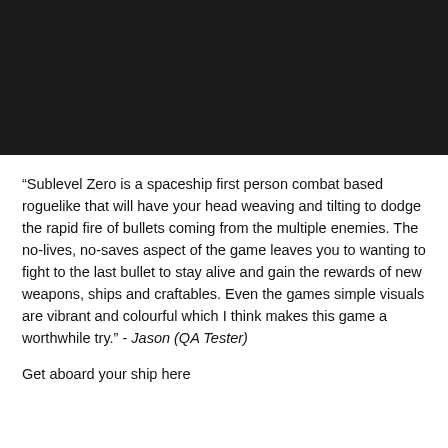[Figure (photo): Dark/black rectangular image area at top of page, likely a game screenshot or promotional image that is very dark or unlit.]
“Sublevel Zero is a spaceship first person combat based roguelike that will have your head weaving and tilting to dodge the rapid fire of bullets coming from the multiple enemies. The no-lives, no-saves aspect of the game leaves you to wanting to fight to the last bullet to stay alive and gain the rewards of new weapons, ships and craftables. Even the games simple visuals are vibrant and colourful which I think makes this game a worthwhile try.” - Jason (QA Tester)
Get aboard your ship here